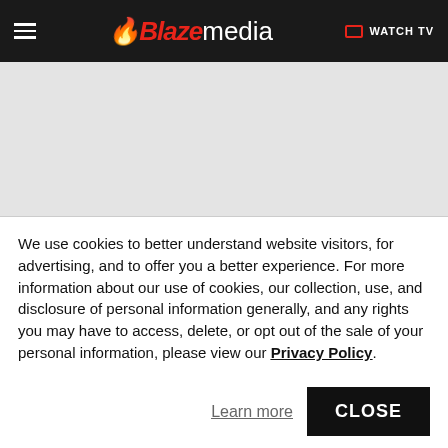Blaze Media — WATCH TV
[Figure (other): Gray advertisement placeholder area]
Blaze Media / BlazeTV
Rand Paul Says Romney Must Do More to Win Ron Paul Supporters
We use cookies to better understand website visitors, for advertising, and to offer you a better experience. For more information about our use of cookies, our collection, use, and disclosure of personal information generally, and any rights you may have to access, delete, or opt out of the sale of your personal information, please view our Privacy Policy.
Learn more  CLOSE